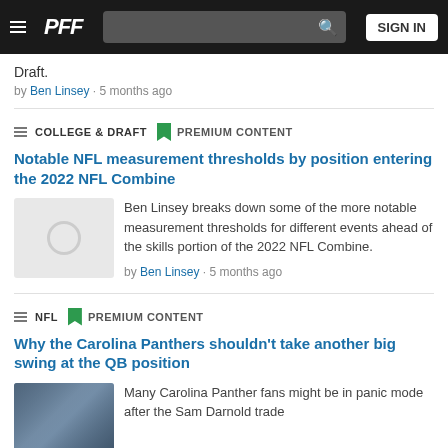PFF — SIGN IN
Draft.
by Ben Linsey · 5 months ago
COLLEGE & DRAFT   PREMIUM CONTENT
Notable NFL measurement thresholds by position entering the 2022 NFL Combine
Ben Linsey breaks down some of the more notable measurement thresholds for different events ahead of the skills portion of the 2022 NFL Combine.
by Ben Linsey · 5 months ago
NFL   PREMIUM CONTENT
Why the Carolina Panthers shouldn't take another big swing at the QB position
Many Carolina Panther fans might be in panic mode after the Sam Darnold trade